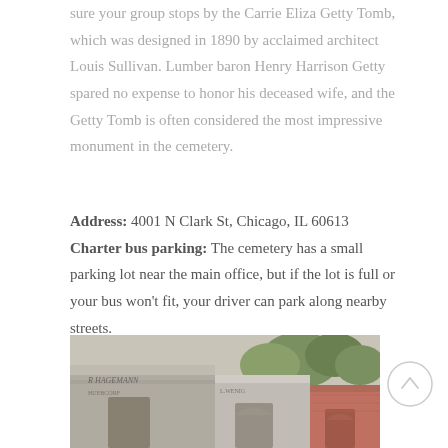sure your group stops by the Carrie Eliza Getty Tomb, which was designed in 1890 by acclaimed architect Louis Sullivan. Lumber baron Henry Harrison Getty spared no expense to honor his deceased wife, and the Getty Tomb is often considered the most impressive monument in the cemetery.
Address: 4001 N Clark St, Chicago, IL 60613
Charter bus parking: The cemetery has a small parking lot near the main office, but if the lot is full or your bus won't fit, your driver can park along nearby streets.
[Figure (photo): Photograph of stone mausoleum facades at a cemetery, showing ornate carved stonework with names including 'R. Hagemann' and other inscriptions, with trees visible in the background.]